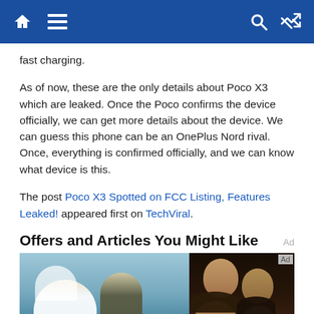Navigation bar with home, menu, search, and shuffle icons
fast charging.
As of now, these are the only details about Poco X3 which are leaked. Once the Poco confirms the device officially, we can get more details about the device. We can guess this phone can be an OnePlus Nord rival. Once, everything is confirmed officially, and we can know what device is this.
The post Poco X3 Spotted on FCC Listing, Features Leaked! appeared first on TechViral.
Offers and Articles You Might Like
[Figure (photo): Two photos side by side: left shows a wedding couple (large woman in white dress and veil with a man in military uniform) outdoors near a lake; right shows a crowd of young women at what appears to be a party or event at night.]